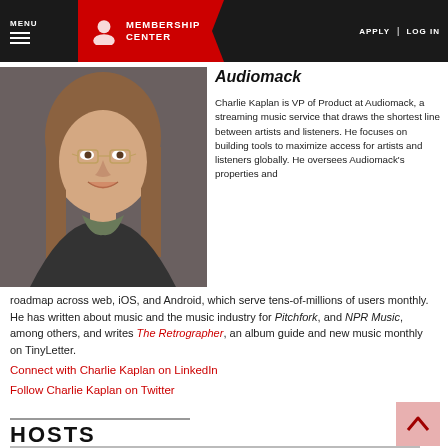MENU | MEMBERSHIP CENTER | APPLY | LOG IN
Audiomack
[Figure (photo): Portrait photo of Charlie Kaplan, a young man with long hair and glasses wearing a dark sweater]
Charlie Kaplan is VP of Product at Audiomack, a streaming music service that draws the shortest line between artists and listeners. He focuses on building tools to maximize access for artists and listeners globally. He oversees Audiomack's properties and roadmap across web, iOS, and Android, which serve tens-of-millions of users monthly. He has written about music and the music industry for Pitchfork, and NPR Music, among others, and writes The Retrographer, an album guide and new music monthly on TinyLetter.
Connect with Charlie Kaplan on LinkedIn
Follow Charlie Kaplan on Twitter
HOSTS